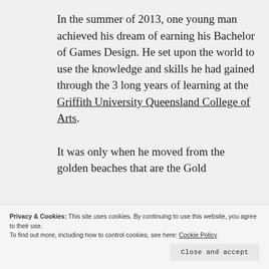In the summer of 2013, one young man achieved his dream of earning his Bachelor of Games Design. He set upon the world to use the knowledge and skills he had gained through the 3 long years of learning at the Griffith University Queensland College of Arts.
It was only when he moved from the golden beaches that are the Gold
Privacy & Cookies: This site uses cookies. By continuing to use this website, you agree to their use.
To find out more, including how to control cookies, see here: Cookie Policy
Close and accept